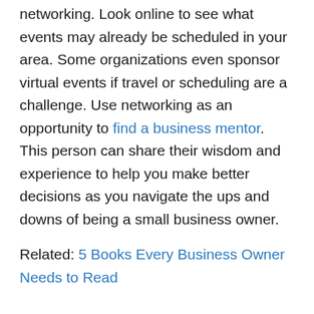networking. Look online to see what events may already be scheduled in your area. Some organizations even sponsor virtual events if travel or scheduling are a challenge. Use networking as an opportunity to find a business mentor. This person can share their wisdom and experience to help you make better decisions as you navigate the ups and downs of being a small business owner.
Related: 5 Books Every Business Owner Needs to Read
3. Make Time for Self-Care
As a business owner, it may feel like you don't have a minute of extra time to take care of yourself because